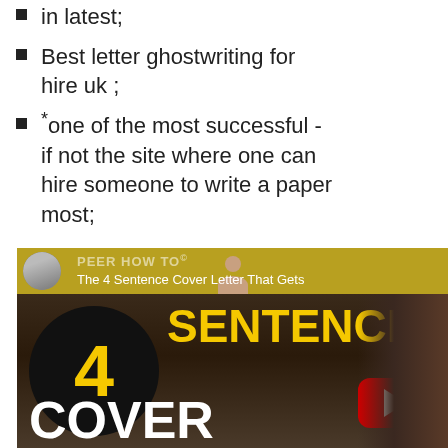in latest;
Best letter ghostwriting for hire uk ;
*one of the most successful - if not the site where one can hire someone to write a paper most;
[Figure (screenshot): YouTube video thumbnail for 'The 4 Sentence Cover Letter That Gets' by PEER HOW TO channel, showing bold text '4 SENTENCE COVER' on dark background with yellow play button overlay]